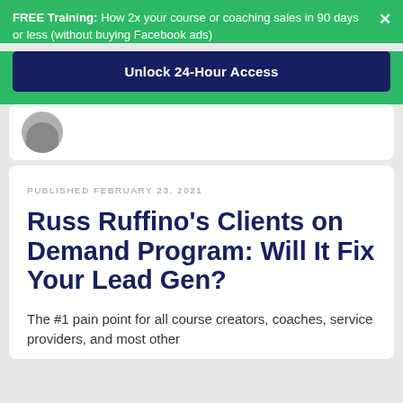FREE Training: How 2x your course or coaching sales in 90 days or less (without buying Facebook ads)
Unlock 24-Hour Access
[Figure (other): Partial avatar/profile image stub at top of article card]
PUBLISHED FEBRUARY 23, 2021
Russ Ruffino’s Clients on Demand Program: Will It Fix Your Lead Gen?
The #1 pain point for all course creators, coaches, service providers, and most other